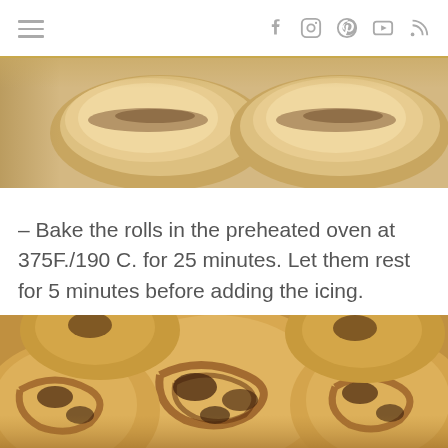Navigation and social icons header
[Figure (photo): Close-up photo of unbaked dough rolls side by side, golden/cream colored, viewed from above]
– Bake the rolls in the preheated oven at 375F./190 C. for 25 minutes. Let them rest for 5 minutes before adding the icing.
[Figure (photo): Close-up photo of freshly baked cinnamon rolls with dark fruit filling, golden brown, arranged in a baking pan]